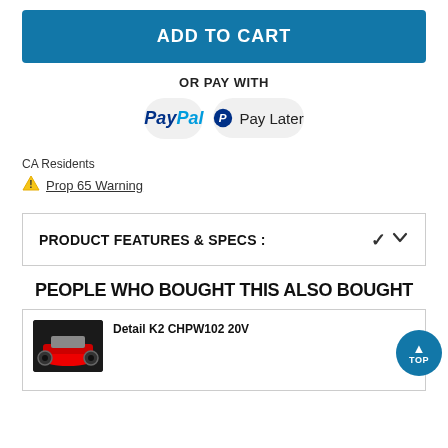ADD TO CART
OR PAY WITH
[Figure (logo): PayPal logo button]
[Figure (logo): PayPal Pay Later button]
CA Residents
⚠ Prop 65 Warning
PRODUCT FEATURES & SPECS :
PEOPLE WHO BOUGHT THIS ALSO BOUGHT
Detail K2 CHPW102 20V